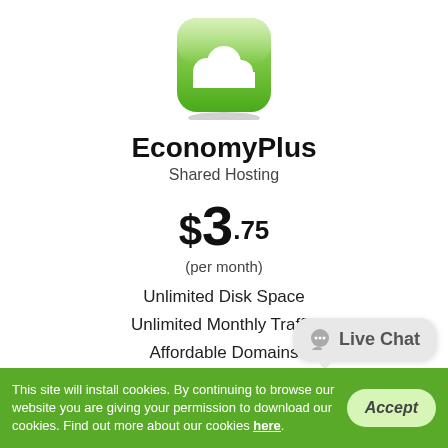[Figure (logo): Green rounded square icon with white cloud symbol]
EconomyPlus
Shared Hosting
$3.75
(per month)
Unlimited Disk Space
Unlimited Monthly Traffic
Affordable Domains
5 Hosted Domain(s)
500 E-mail Accounts
30-day free trial
This site will install cookies. By continuing to browse our website you are giving your permission to download our cookies. Find out more about our cookies here.